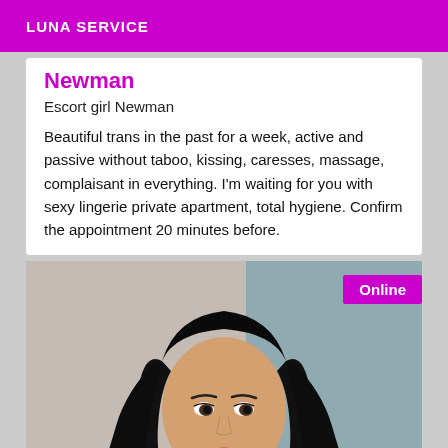LUNA SERVICE
Newman
Escort girl Newman
Beautiful trans in the past for a week, active and passive without taboo, kissing, caresses, massage, complaisant in everything. I'm waiting for you with sexy lingerie private apartment, total hygiene. Confirm the appointment 20 minutes before.
[Figure (photo): Portrait photo of a person with long black hair, looking to the side, with an Online badge in the top right corner]